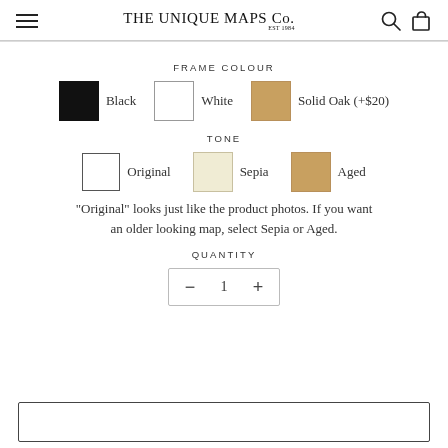THE UNIQUE MAPS Co. EST 1984
FRAME COLOUR
Black   White   Solid Oak (+$20)
TONE
Original   Sepia   Aged
"Original" looks just like the product photos. If you want an older looking map, select Sepia or Aged.
QUANTITY
- 1 +